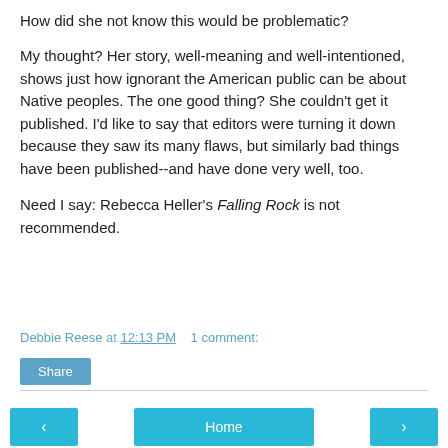How did she not know this would be problematic?
My thought? Her story, well-meaning and well-intentioned, shows just how ignorant the American public can be about Native peoples. The one good thing? She couldn't get it published. I'd like to say that editors were turning it down because they saw its many flaws, but similarly bad things have been published--and have done very well, too.
Need I say: Rebecca Heller's Falling Rock is not recommended.
Debbie Reese at 12:13 PM   1 comment:
Share
‹  Home  ›